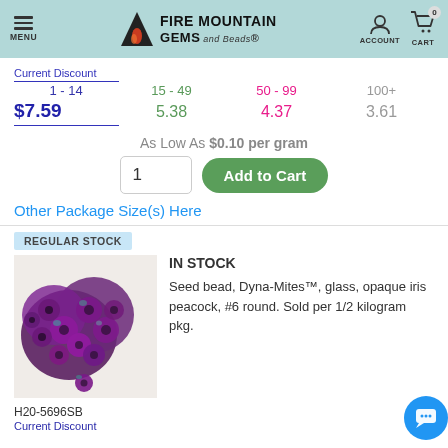[Figure (logo): Fire Mountain Gems and Beads logo with mountain/flame icon and navigation header including MENU, ACCOUNT, CART (0)]
| Current Discount | 15 - 49 | 50 - 99 | 100+ |
| --- | --- | --- | --- |
| 1 - 14 | 15 - 49 | 50 - 99 | 100+ |
| $7.59 | 5.38 | 4.37 | 3.61 |
As Low As $0.10 per gram
1   Add to Cart
Other Package Size(s) Here
REGULAR STOCK
IN STOCK
Seed bead, Dyna-Mites™, glass, opaque iris peacock, #6 round. Sold per 1/2 kilogram pkg.
[Figure (photo): Photo of purple/green iridescent seed beads (Dyna-Mites, opaque iris peacock, #6 round)]
H20-5696SB
Current Discount